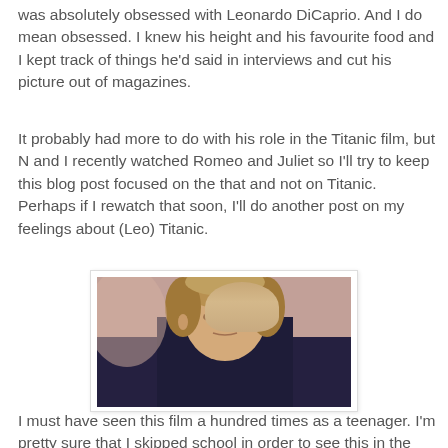was absolutely obsessed with Leonardo DiCaprio. And I do mean obsessed. I knew his height and his favourite food and I kept track of things he'd said in interviews and cut his picture out of magazines.
It probably had more to do with his role in the Titanic film, but N and I recently watched Romeo and Juliet so I'll try to keep this blog post focused on the that and not on Titanic. Perhaps if I rewatch that soon, I'll do another post on my feelings about (Leo) Titanic.
[Figure (photo): A young Leonardo DiCaprio in a scene, wearing a dark jacket with white collar, looking sideways with a serious expression. Blurred background with warm tones.]
I must have seen this film a hundred times as a teenager. I'm pretty sure that I skipped school in order to see this in the